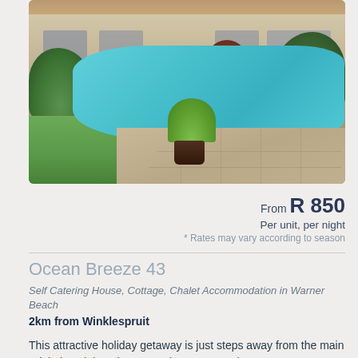[Figure (photo): Exterior photo of a holiday accommodation showing a swimming pool with blue water in the foreground, a palm plant in a dark pot on paving, green grass on the left, and a beige/cream single-storey building with tiled roof in the background, surrounded by tropical plants and trees.]
From R 850
Per unit, per night
* Rates may vary according to season
Ocean Breeze 43
Self Catering House, Cottage, Chalet Accommodation in Warner Beach
2km from Winklespruit
This attractive holiday getaway is just steps away from the main Winkelspruit beach. No need to cross roads.